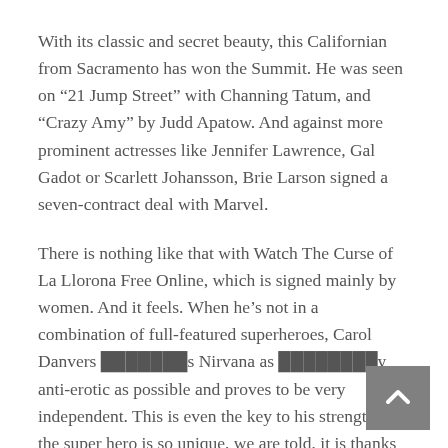With its classic and secret beauty, this Californian from Sacramento has won the Summit. He was seen on “21 Jump Street” with Channing Tatum, and “Crazy Amy” by Judd Apatow. And against more prominent actresses like Jennifer Lawrence, Gal Gadot or Scarlett Johansson, Brie Larson signed a seven-contract deal with Marvel.
There is nothing like that with Watch The Curse of La Llorona Free Online, which is signed mainly by women. And it feels. When he’s not in a combination of full-featured superheroes, Carol Danvers ███████s Nirvana as ████████y anti-erotic as possible and proves to be very independent. This is even the key to his strength: if the super hero is so unique, we are told, it is thanks to his ability since childhood, despite being ridiculed masculine, to stand alone. Too bad it’s not enough to make a film